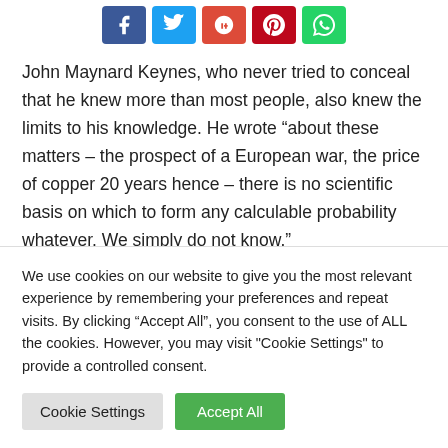[Figure (other): Row of social media share buttons: Facebook (blue), Twitter (light blue), Google+ (red), Pinterest (red), WhatsApp (green)]
John Maynard Keynes, who never tried to conceal that he knew more than most people, also knew the limits to his knowledge. He wrote “about these matters – the prospect of a European war, the price of copper 20 years hence – there is no scientific basis on which to form any calculable probability whatever. We simply do not know.”
And Keynes was right. He published these observations in 1931 and 39 years later Britain was…
We use cookies on our website to give you the most relevant experience by remembering your preferences and repeat visits. By clicking “Accept All”, you consent to the use of ALL the cookies. However, you may visit "Cookie Settings" to provide a controlled consent.